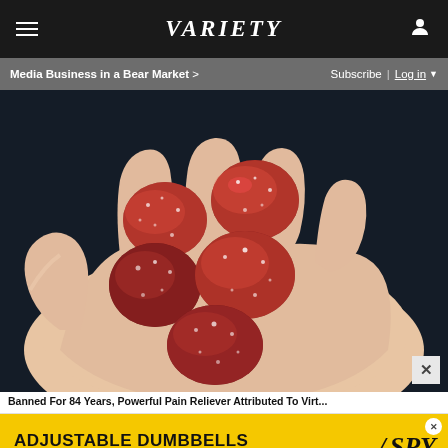VARIETY
Media Business in a Bear Market >
Subscribe | Log in
[Figure (photo): Close-up photo of a hand holding several red/dark sugary gummy candies dusted with sugar crystals, on a dark background]
Banned For 84 Years, Powerful Pain Reliever Attributed To Virt...
[Figure (infographic): Advertisement banner: ADJUSTABLE DUMBBELLS / SPY TESTED & REVIEWED with SPY logo on yellow background]